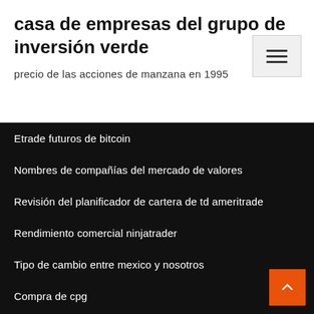casa de empresas del grupo de inversión verde
precio de las acciones de manzana en 1995
Etrade futuros de bitcoin
Nombres de compañías del mercado de valores
Revisión del planificador de cartera de td ameritrade
Rendimiento comercial ninjatrader
Tipo de cambio entre mexico y nosotros
Compra de cpg
Entradas lafc
Npk stock tsx